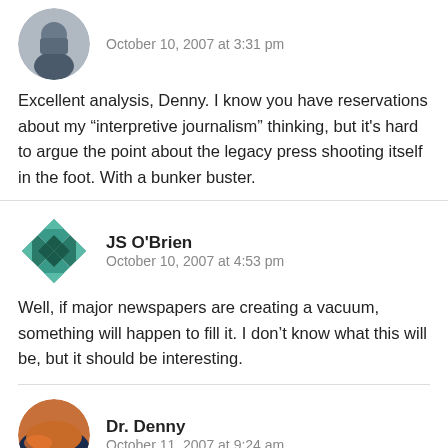[Figure (photo): Circular avatar photo of a person in dark clothing]
October 10, 2007 at 3:31 pm
Excellent analysis, Denny. I know you have reservations about my “interpretive journalism” thinking, but it's hard to argue the point about the legacy press shooting itself in the foot. With a bunker buster.
[Figure (illustration): Square geometric/quilt-pattern avatar icon in teal/green tones]
JS O'Brien
October 10, 2007 at 4:53 pm
Well, if major newspapers are creating a vacuum, something will happen to fill it. I don’t know what this will be, but it should be interesting.
[Figure (photo): Circular avatar photo showing a sunset/landscape scene]
Dr. Denny
October 11, 2007 at 9:24 am
Whether I have reservations about “interpretative” journalism no longer matters, Sam. Swap it in for